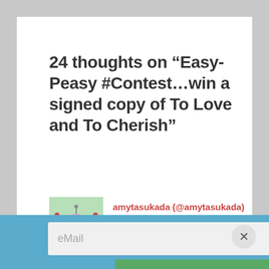24 thoughts on “Easy-Peasy #Contest…win a signed copy of To Love and To Cherish”
amytasukada (@amytasukada)
January 1, 2017 at 12:37 PM
eMail
NEWSLETTER SIGNUP
By continuing, you accept this site’s privacy policy